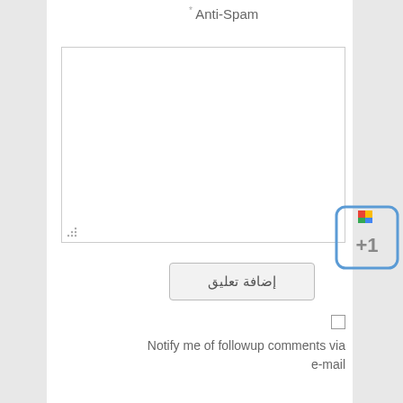Anti-Spam
[Figure (screenshot): Empty textarea/comment input box with resize handle at bottom-left]
إضافة تعليق
[Figure (other): Google +1 button icon with colorful flag and +1 text]
Notify me of followup comments via e-mail